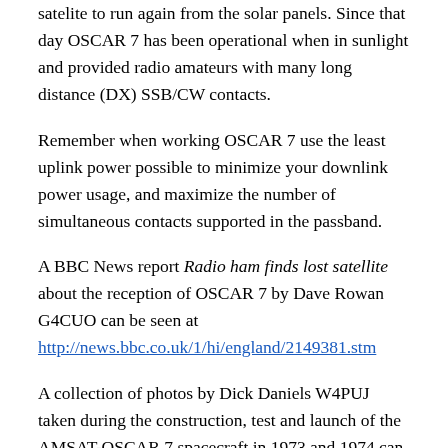satelite to run again from the solar panels. Since that day OSCAR 7 has been operational when in sunlight and provided radio amateurs with many long distance (DX) SSB/CW contacts.
Remember when working OSCAR 7 use the least uplink power possible to minimize your downlink power usage, and maximize the number of simultaneous contacts supported in the passband.
A BBC News report Radio ham finds lost satellite about the reception of OSCAR 7 by Dave Rowan G4CUO can be seen at http://news.bbc.co.uk/1/hi/england/2149381.stm
A collection of photos by Dick Daniels W4PUJ taken during the construction, test and launch of the AMSAT-OSCAR 7 spacecraft in 1973 and 1974 can be viewed at